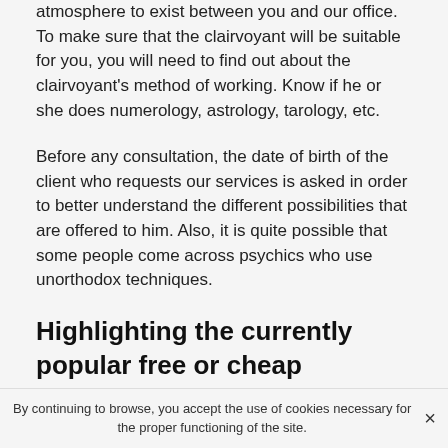atmosphere to exist between you and our office. To make sure that the clairvoyant will be suitable for you, you will need to find out about the clairvoyant's method of working. Know if he or she does numerology, astrology, tarology, etc.
Before any consultation, the date of birth of the client who requests our services is asked in order to better understand the different possibilities that are offered to him. Also, it is quite possible that some people come across psychics who use unorthodox techniques.
Highlighting the currently popular free or cheap clairvoyance formulas in Norfolk, VA
Nowadays, there is a resurgence of best psychics in Norfolk which are often used by the top people in the field
By continuing to browse, you accept the use of cookies necessary for the proper functioning of the site.